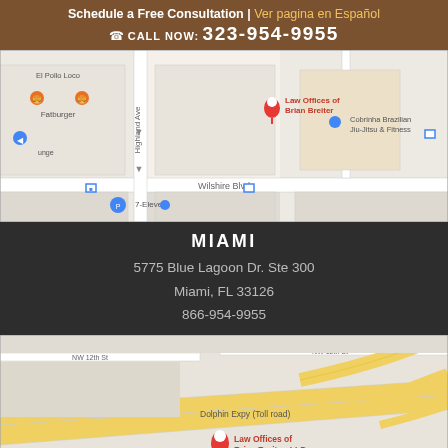Schedule a Free Consultation | Ver pagina en Español
CALL NOW: 323-954-9955
[Figure (map): Google Maps screenshot showing Law Offices of Brian Breiter near Wilshire Blvd and Highland Ave, with nearby businesses El Pollo Loco, Fatburger, 7-Eleven, and Cobrinha Brazilian Jiu-Jitsu & Fitness]
MIAMI
5775 Blue Lagoon Dr. Ste 300
Miami, FL 33126
866-954-9955
[Figure (map): Google Maps screenshot showing Law Offices of Brian Breiter LLP near Dolphin Expy (Toll road) and NW 12th St, with 94th Aero Squad nearby]